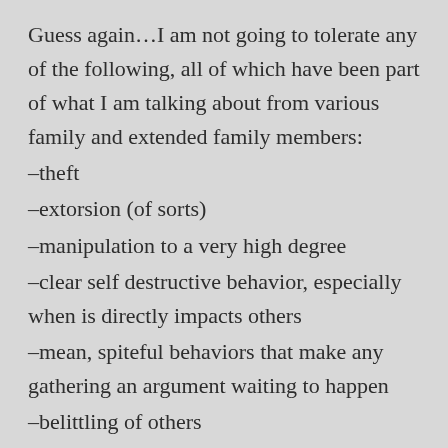Guess again…I am not going to tolerate any of the following, all of which have been part of what I am talking about from various family and extended family members:
–theft
–extorsion (of sorts)
–manipulation to a very high degree
–clear self destructive behavior, especially when is directly impacts others
–mean, spiteful behaviors that make any gathering an argument waiting to happen
–belittling of others
–extreme judgment and excessive “life advice”
There are lots of other examples, but these are the